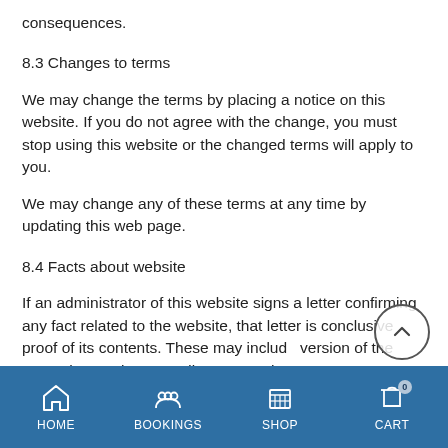consequences.
8.3 Changes to terms
We may change the terms by placing a notice on this website. If you do not agree with the change, you must stop using this website or the changed terms will apply to you.
We may change any of these terms at any time by updating this web page.
8.4 Facts about website
If an administrator of this website signs a letter confirming any fact related to the website, that letter is conclusive proof of its contents. These may include the version of the terms that apply to any dispute, or what content or functions the website had at a particular time
HOME  BOOKINGS  SHOP  CART